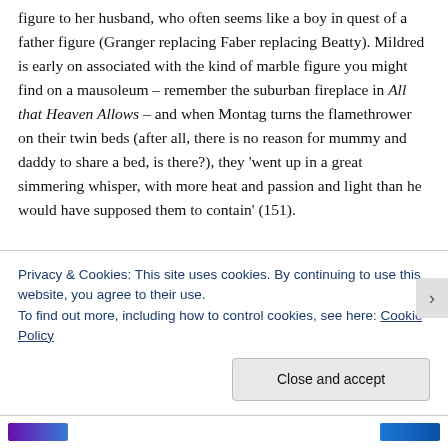figure to her husband, who often seems like a boy in quest of a father figure (Granger replacing Faber replacing Beatty). Mildred is early on associated with the kind of marble figure you might find on a mausoleum – remember the suburban fireplace in All that Heaven Allows – and when Montag turns the flamethrower on their twin beds (after all, there is no reason for mummy and daddy to share a bed, is there?), they 'went up in a great simmering whisper, with more heat and passion and light than he would have supposed them to contain' (151).
There is also something just a little bit queer about
Privacy & Cookies: This site uses cookies. By continuing to use this website, you agree to their use.
To find out more, including how to control cookies, see here: Cookie Policy